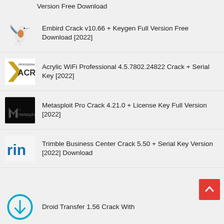Version Free Download
Embird Crack v10.66 + Keygen Full Version Free Download [2022]
Acrylic WiFi Professional 4.5.7802.24822 Crack + Serial Key [2022]
Metasploit Pro Crack 4.21.0 + License Key Full Version [2022]
Trimble Business Center Crack 5.50 + Serial Key Version [2022] Download
Droid Transfer 1.56 Crack With